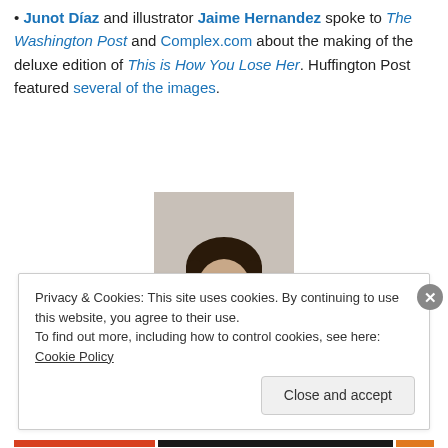Junot Díaz and illustrator Jaime Hernandez spoke to The Washington Post and Complex.com about the making of the deluxe edition of This is How You Lose Her. Huffington Post featured several of the images.
[Figure (photo): Portrait photo of a young woman with long dark hair, wearing a white top, against a light gray background]
Privacy & Cookies: This site uses cookies. By continuing to use this website, you agree to their use.
To find out more, including how to control cookies, see here: Cookie Policy
Close and accept